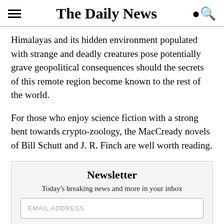The Daily News
Himalayas and its hidden environment populated with strange and deadly creatures pose potentially grave geopolitical consequences should the secrets of this remote region become known to the rest of the world.
For those who enjoy science fiction with a strong bent towards crypto-zoology, the MacCready novels of Bill Schutt and J. R. Finch are well worth reading.
Newsletter
Today's breaking news and more in your inbox
EMAIL ADDRESS